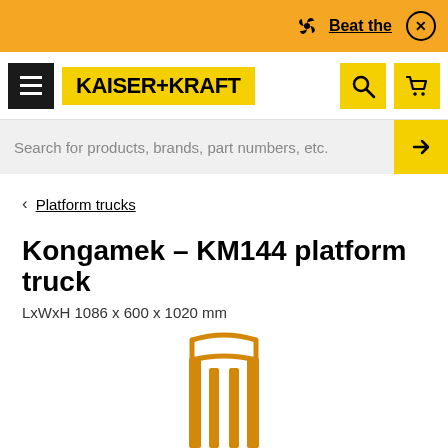Beat the...
[Figure (logo): KAISER+KRAFT logo with hamburger menu, search icon and cart icon]
Search for products, brands, part numbers, etc.
< Platform trucks
Kongamek – KM144 platform truck
LxWxH 1086 x 600 x 1020 mm
Technical data
Similar products
[Figure (illustration): Partial product image of a yellow Kongamek KM144 platform truck frame/handle]